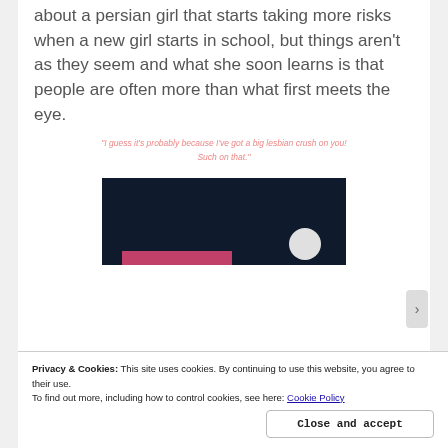about a persian girl that starts taking more risks when a new girl starts in school, but things aren't as they seem and what she soon learns is that people are often more than what first meets the eye.
"I guess it's probably because I've got a big lesbian crush on you! Such on that."
[Figure (screenshot): Dark navy blue image with a pink/red horizontal bar at the bottom left and a light grey circle at the bottom right.]
Privacy & Cookies: This site uses cookies. By continuing to use this website, you agree to their use.
To find out more, including how to control cookies, see here: Cookie Policy
Close and accept